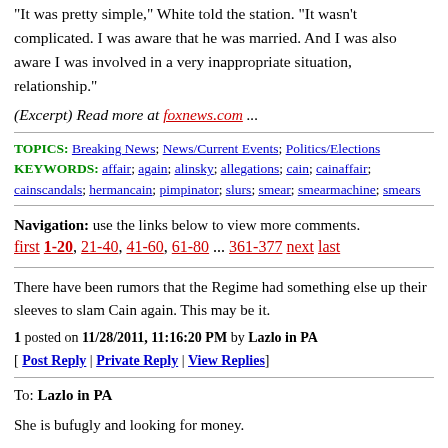"It was pretty simple," White told the station. "It wasn't complicated. I was aware that he was married. And I was also aware I was involved in a very inappropriate situation, relationship."
(Excerpt) Read more at foxnews.com ...
TOPICS: Breaking News; News/Current Events; Politics/Elections
KEYWORDS: affair; again; alinsky; allegations; cain; cainaffair; cainscandals; hermancain; pimpinator; slurs; smear; smearmachine; smears
Navigation: use the links below to view more comments.
first 1-20, 21-40, 41-60, 61-80 ... 361-377 next last
There have been rumors that the Regime had something else up their sleeves to slam Cain again. This may be it.
1 posted on 11/28/2011, 11:16:20 PM by Lazlo in PA
[ Post Reply | Private Reply | View Replies]
To: Lazlo in PA
She is bufugly and looking for money.
2 posted on 11/28/2011, 11:19:00 PM by scop2000 (Give me Liberty or give